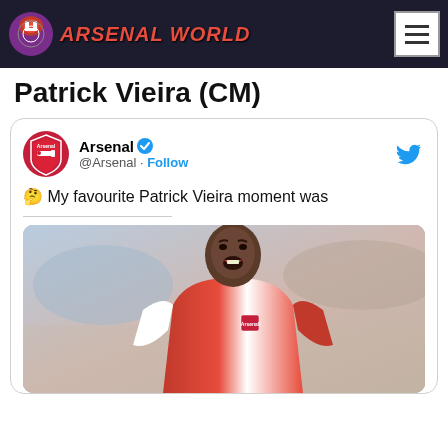Arsenal World
Patrick Vieira (CM)
[Figure (screenshot): Embedded tweet from @Arsenal with text '🤔 My favourite Patrick Vieira moment was' and a photo of Patrick Vieira in Arsenal red and white kit, celebrating with mouth open wide]